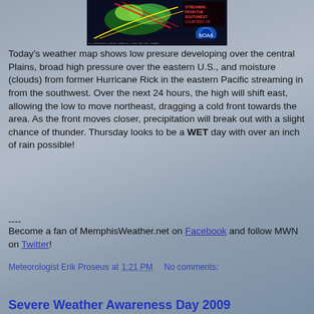[Figure (map): Weather map showing low pressure developing over the central Plains, high pressure over eastern U.S., and moisture from former Hurricane Rick in the eastern Pacific streaming in from the southwest. NOAA satellite image.]
Today's weather map shows low presure developing over the central Plains, broad high pressure over the eastern U.S., and moisture (clouds) from former Hurricane Rick in the eastern Pacific streaming in from the southwest. Over the next 24 hours, the high will shift east, allowing the low to move northeast, dragging a cold front towards the area. As the front moves closer, precipitation will break out with a slight chance of thunder. Thursday looks to be a WET day with over an inch of rain possible!
----
Become a fan of MemphisWeather.net on Facebook and follow MWN on Twitter!
Meteorologist Erik Proseus at 1:21 PM     No comments:
Share
Severe Weather Awareness Day 2009